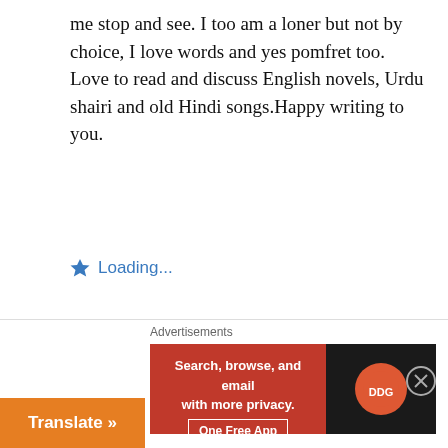me stop and see. I too am a loner but not by choice, I love words and yes pomfret too. Love to read and discuss English novels, Urdu shairi and old Hindi songs.Happy writing to you.
Loading...
REPLY
nmafzal
November 3, 2014 at 5:09 pm
Thanks for stopping by. I believe no one is a loner by choice. We are born like this, destined to be
Advertisements
Search, browse, and email with more privacy. One Free App
Translate »